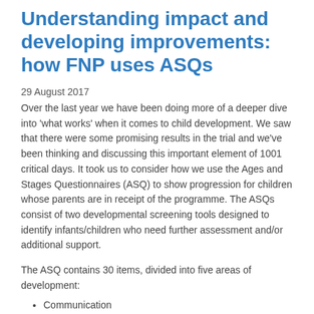Understanding impact and developing improvements: how FNP uses ASQs
29 August 2017
Over the last year we have been doing more of a deeper dive into 'what works' when it comes to child development. We saw that there were some promising results in the trial and we've been thinking and discussing this important element of 1001 critical days. It took us to consider how we use the Ages and Stages Questionnaires (ASQ) to show progression for children whose parents are in receipt of the programme. The ASQs consist of two developmental screening tools designed to identify infants/children who need further assessment and/or additional support.
The ASQ contains 30 items, divided into five areas of development:
Communication